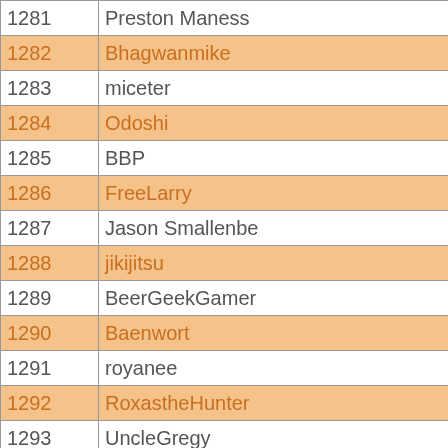| # | Name |
| --- | --- |
| 1281 | Preston Maness |
| 1282 | Bhagwanmike |
| 1283 | miceter |
| 1284 | Odoshi |
| 1285 | BBP |
| 1286 | FreeLarry |
| 1287 | Jason Smallenbe |
| 1288 | jikijitsu |
| 1289 | BeerGeekGamer |
| 1290 | Baenwort |
| 1291 | royanee |
| 1292 | RoxastheHunter |
| 1293 | UncleGregy |
| 1294 | cartmage |
| 1295 | Viktor |
| 1296 | Michael Pulley |
| 1297 | Dan |